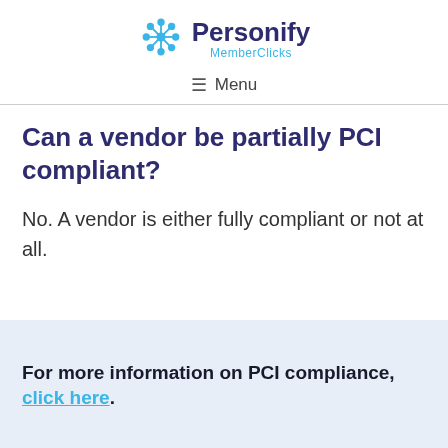Personify MemberClicks
≡ Menu
Can a vendor be partially PCI compliant?
No. A vendor is either fully compliant or not at all.
For more information on PCI compliance, click here.